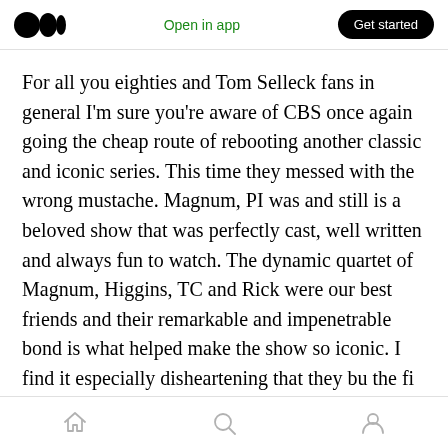Medium logo | Open in app | Get started
For all you eighties and Tom Selleck fans in general I'm sure you're aware of CBS once again going the cheap route of rebooting another classic and iconic series. This time they messed with the wrong mustache. Magnum, PI was and still is a beloved show that was perfectly cast, well written and always fun to watch. The dynamic quartet of Magnum, Higgins, TC and Rick were our best friends and their remarkable and impenetrable bond is what helped make the show so iconic. I find it especially disheartening that...
Home | Search | Profile